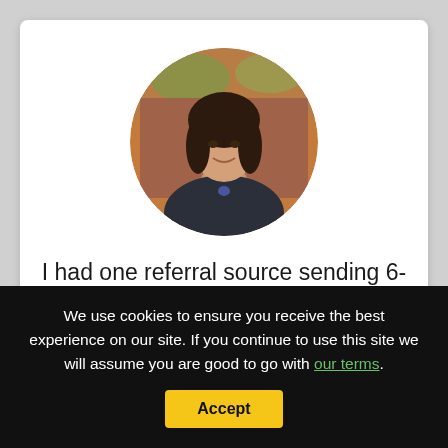[Figure (photo): Circular cropped headshot of a woman with curly dark hair, wearing a dark blazer, arms crossed, smiling, with a blurred outdoor background.]
I had one referral source sending 6-7 referrals a year.
NOW I RECEIVE MORE THAN 40
We use cookies to ensure you receive the best experience on our site. If you continue to use this site we will assume you are good to go with our terms.
Accept